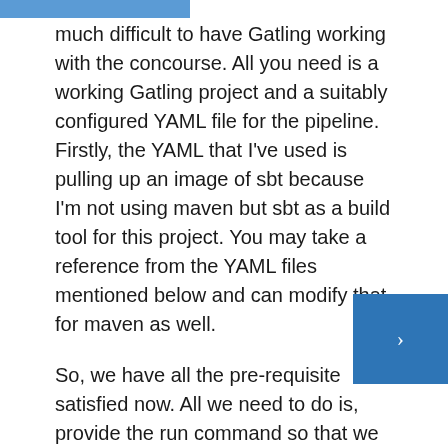much difficult to have Gatling working with the concourse. All you need is a working Gatling project and a suitably configured YAML file for the pipeline. Firstly, the YAML that I've used is pulling up an image of sbt because I'm not using maven but sbt as a build tool for this project. You may take a reference from the YAML files mentioned below and can modify that for maven as well.
So, we have all the pre-requisite satisfied now. All we need to do is, provide the run command so that we can run our Gatling tests.
To do so, I've created a shell script that has the correct command to run our test. You can find the YAML file and the shell script below.
This is the YAML file that I've used to configure the pipeline. Please note that this YAML file will look for another YAML file named test.yml which will take a fresh pull of the sbt docker image and once done it